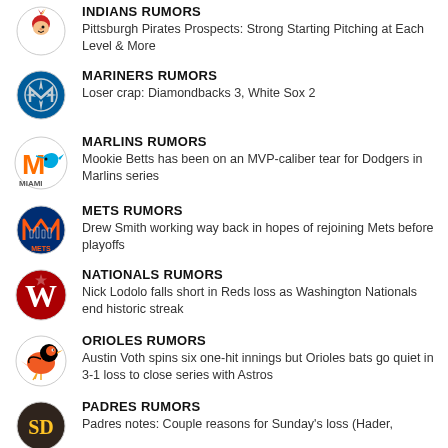INDIANS RUMORS
Pittsburgh Pirates Prospects: Strong Starting Pitching at Each Level & More
MARINERS RUMORS
Loser crap: Diamondbacks 3, White Sox 2
MARLINS RUMORS
Mookie Betts has been on an MVP-caliber tear for Dodgers in Marlins series
METS RUMORS
Drew Smith working way back in hopes of rejoining Mets before playoffs
NATIONALS RUMORS
Nick Lodolo falls short in Reds loss as Washington Nationals end historic streak
ORIOLES RUMORS
Austin Voth spins six one-hit innings but Orioles bats go quiet in 3-1 loss to close series with Astros
PADRES RUMORS
Padres notes: Couple reasons for Sunday's loss (Hader,